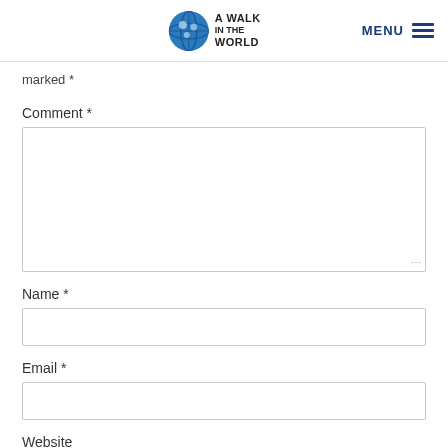A Walk In The World — MENU
marked *
Comment *
Name *
Email *
Website